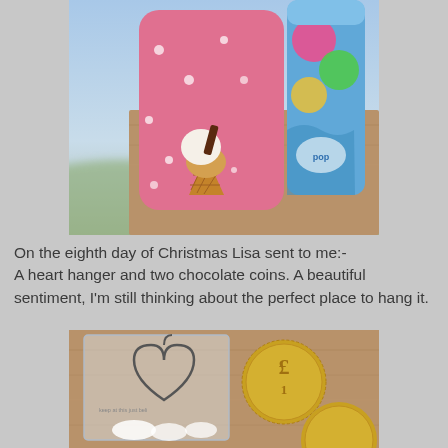[Figure (photo): Pink sock with ice cream cone design and white polka dots, next to a blue and pink candy/sweet packet on a wooden surface]
On the eighth day of Christmas Lisa sent to me:-
A heart hanger and two chocolate coins. A beautiful sentiment, I'm still thinking about the perfect place to hang it.
[Figure (photo): A clear plastic bag containing a wire heart hanger and two gold foil-wrapped chocolate coins (£1) on a wooden surface]